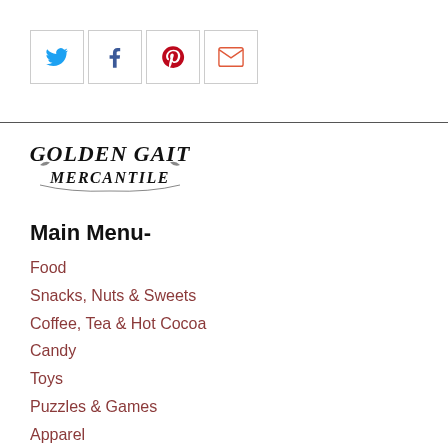[Figure (infographic): Social media icon buttons: Twitter (blue bird), Facebook (blue f), Pinterest (red P), Email (red envelope), each in a square border]
[Figure (logo): Golden Gait Mercantile logo in decorative old-west style black lettering]
Main Menu-
Food
Snacks, Nuts & Sweets
Coffee, Tea & Hot Cocoa
Candy
Toys
Puzzles & Games
Apparel
Tools & Flashlights